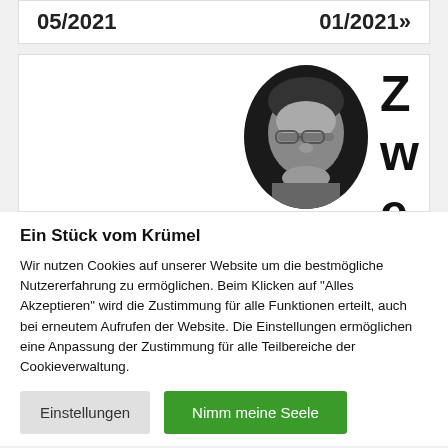05/2021 ... 01/2021»
[Figure (photo): Black and white portrait photo of a man with glasses in an oval frame, with large bold letters Z, w, e partially visible to the right]
Ein Stück vom Krümel
Wir nutzen Cookies auf unserer Website um die bestmögliche Nutzererfahrung zu ermöglichen. Beim Klicken auf "Alles Akzeptieren" wird die Zustimmung für alle Funktionen erteilt, auch bei erneutem Aufrufen der Website. Die Einstellungen ermöglichen eine Anpassung der Zustimmung für alle Teilbereiche der Cookieverwaltung.
Einstellungen | Nimm meine Seele